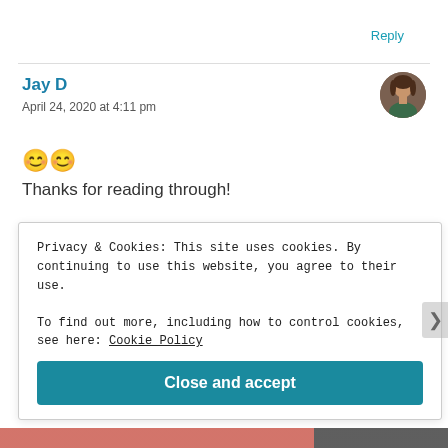Reply
Jay D
April 24, 2020 at 4:11 pm
[Figure (illustration): Avatar photo of a woman with brown hair]
😊😊
Thanks for reading through!
★ Like
Privacy & Cookies: This site uses cookies. By continuing to use this website, you agree to their use.
To find out more, including how to control cookies, see here: Cookie Policy
Close and accept